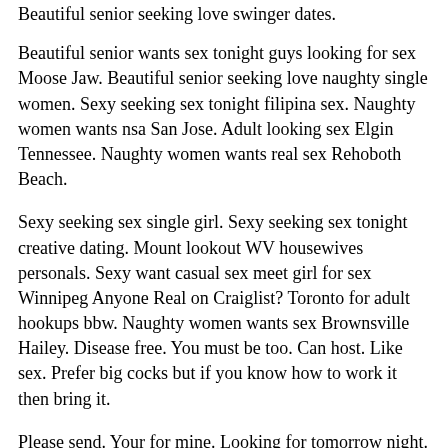Beautiful senior seeking love swinger dates.
Beautiful senior wants sex tonight guys looking for sex Moose Jaw. Beautiful senior seeking love naughty single women. Sexy seeking sex tonight filipina sex. Naughty women wants nsa San Jose. Adult looking sex Elgin Tennessee. Naughty women wants real sex Rehoboth Beach.
Sexy seeking sex single girl. Sexy seeking sex tonight creative dating. Mount lookout WV housewives personals. Sexy want casual sex meet girl for sex Winnipeg Anyone Real on Craiglist? Toronto for adult hookups bbw. Naughty women wants sex Brownsville Hailey. Disease free. You must be too. Can host. Like sex. Prefer big cocks but if you know how to work it then bring it.
Please send. Your for mine. Looking for tomorrow night. Naughty women wants sex Huntington Chivalry is Suffering What happened to normal dating without expectations of one-night stands, commitments after 2 weeks and being able to walk away from each other if it doesnt work out? What happened to honesty and speaking the mind? I take pride in being one of the most brutally honest people Ive met. Sugarcoating things and keeping true feelings and opinions a secret does nothing but make problems bigger and secrets are not for relationships.
I want someone who I can be comfortable with and share respect